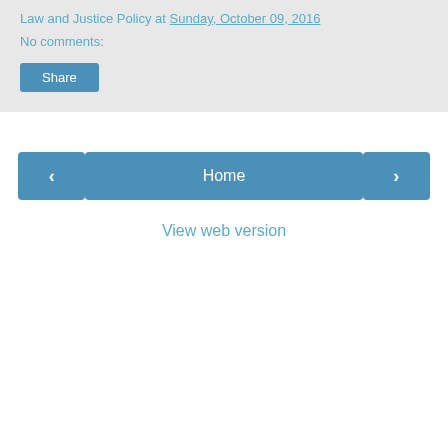Law and Justice Policy at Sunday, October 09, 2016
No comments:
Share
‹
Home
›
View web version